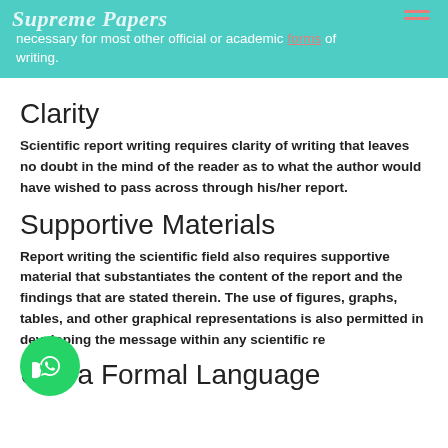necessary for most other official or academic forms of writing.
Clarity
Scientific report writing requires clarity of writing that leaves no doubt in the mind of the reader as to what the author would have wished to pass across through his/her report.
Supportive Materials
Report writing the scientific field also requires supportive material that substantiates the content of the report and the findings that are stated therein. The use of figures, graphs, tables, and other graphical representations is also permitted in developing the message within any scientific report.
Use a Formal Language